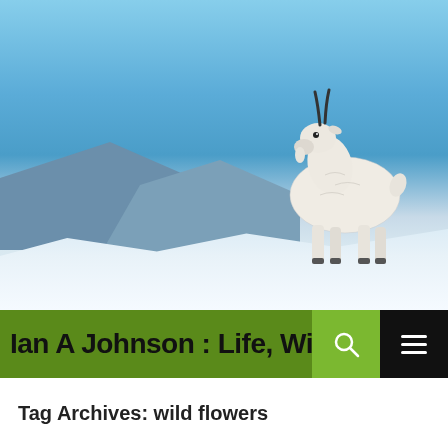[Figure (photo): Mountain goat standing on a snowy ridge with blue mountain background and sky]
Ian A Johnson : Life, Wildl...
Tag Archives: wild flowers
[Figure (photo): Wild flowers including pink clover against a blue sky with white clouds, with a watermark reading ianjohnson.com]